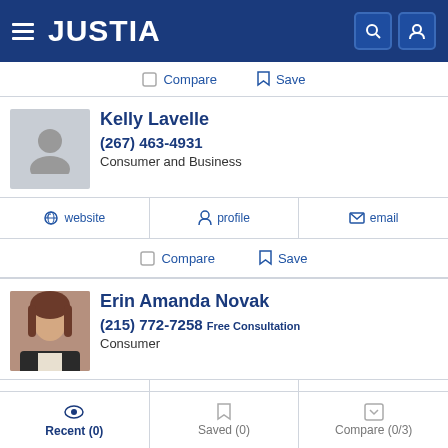JUSTIA
Compare  Save
Kelly Lavelle
(267) 463-4931
Consumer and Business
website  profile  email
Compare  Save
Erin Amanda Novak
(215) 772-7258  Free Consultation
Consumer
website  profile  email
Recent (0)  Saved (0)  Compare (0/3)